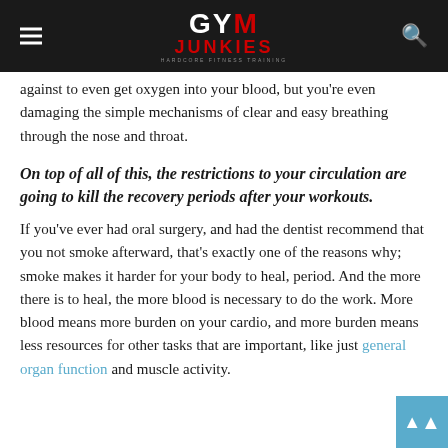GYM JUNKIES — HARDCORE FITNESS TRAINING
against to even get oxygen into your blood, but you're even damaging the simple mechanisms of clear and easy breathing through the nose and throat.
On top of all of this, the restrictions to your circulation are going to kill the recovery periods after your workouts.
If you've ever had oral surgery, and had the dentist recommend that you not smoke afterward, that's exactly one of the reasons why; smoke makes it harder for your body to heal, period. And the more there is to heal, the more blood is necessary to do the work. More blood means more burden on your cardio, and more burden means less resources for other tasks that are important, like just general organ function and muscle activity.